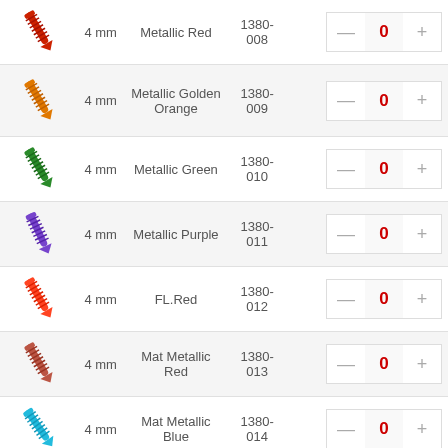| Image | Size | Name | Code | Quantity |
| --- | --- | --- | --- | --- |
| [red screw img] | 4 mm | Metallic Red | 1380-008 | 0 |
| [orange screw img] | 4 mm | Metallic Golden Orange | 1380-009 | 0 |
| [green screw img] | 4 mm | Metallic Green | 1380-010 | 0 |
| [purple screw img] | 4 mm | Metallic Purple | 1380-011 | 0 |
| [red fl screw img] | 4 mm | FL.Red | 1380-012 | 0 |
| [mat red screw img] | 4 mm | Mat Metallic Red | 1380-013 | 0 |
| [mat blue screw img] | 4 mm | Mat Metallic Blue | 1380-014 | 0 |